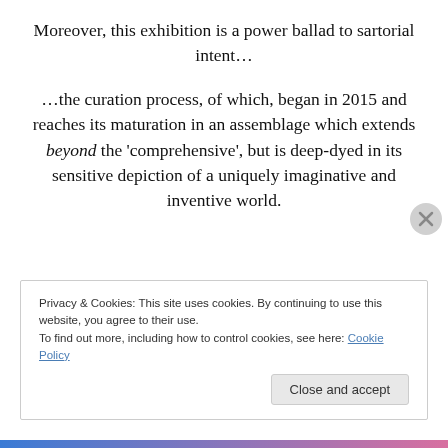Moreover, this exhibition is a power ballad to sartorial intent…
…the curation process, of which, began in 2015 and reaches its maturation in an assemblage which extends beyond the 'comprehensive', but is deep-dyed in its sensitive depiction of a uniquely imaginative and inventive world.
Privacy & Cookies: This site uses cookies. By continuing to use this website, you agree to their use.
To find out more, including how to control cookies, see here: Cookie Policy